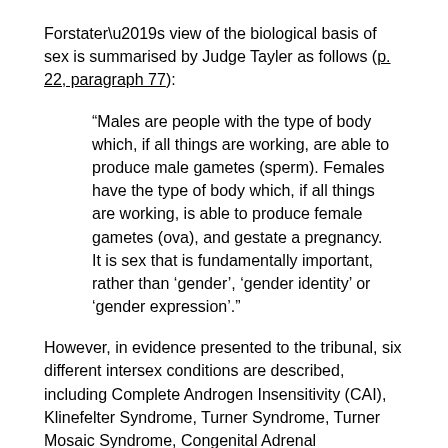Forstater's view of the biological basis of sex is summarised by Judge Tayler as follows (p. 22, paragraph 77):
“Males are people with the type of body which, if all things are working, are able to produce male gametes (sperm). Females have the type of body which, if all things are working, is able to produce female gametes (ova), and gestate a pregnancy. It is sex that is fundamentally important, rather than ‘gender’, ‘gender identity’ or ‘gender expression’.”
However, in evidence presented to the tribunal, six different intersex conditions are described, including Complete Androgen Insensitivity (CAI), Klinefelter Syndrome, Turner Syndrome, Turner Mosaic Syndrome, Congenital Adrenal Hyperplasia (CAH), and